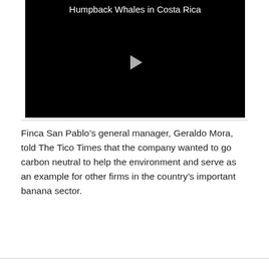[Figure (screenshot): Black video player thumbnail with white text title 'Humpback Whales in Costa Rica' at the top and a white play button triangle in the center.]
Finca San Pablo's general manager, Geraldo Mora, told The Tico Times that the company wanted to go carbon neutral to help the environment and serve as an example for other firms in the country's important banana sector.